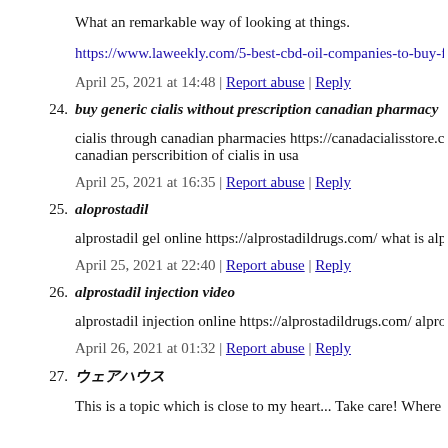What an remarkable way of looking at things.
https://www.laweekly.com/5-best-cbd-oil-companies-to-buy-fr
April 25, 2021 at 14:48 | Report abuse | Reply
24. buy generic cialis without prescription canadian pharmacy
cialis through canadian pharmacies https://canadacialisstore.co canadian perscribition of cialis in usa
April 25, 2021 at 16:35 | Report abuse | Reply
25. aloprostadil
alprostadil gel online https://alprostadildrugs.com/ what is alp
April 25, 2021 at 22:40 | Report abuse | Reply
26. alprostadil injection video
alprostadil injection online https://alprostadildrugs.com/ alpros
April 26, 2021 at 01:32 | Report abuse | Reply
27. ウェアハウス
This is a topic which is close to my heart... Take care! Where a